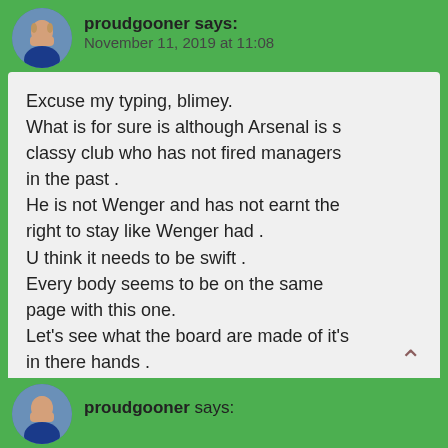proudgooner says:
November 11, 2019 at 11:08
Excuse my typing, blimey.
What is for sure is although Arsenal is s classy club who has not fired managers in the past .
He is not Wenger and has not earnt the right to stay like Wenger had .
U think it needs to be swift .
Every body seems to be on the same page with this one.
Let's see what the board are made of it's in there hands .
proudgooner says: